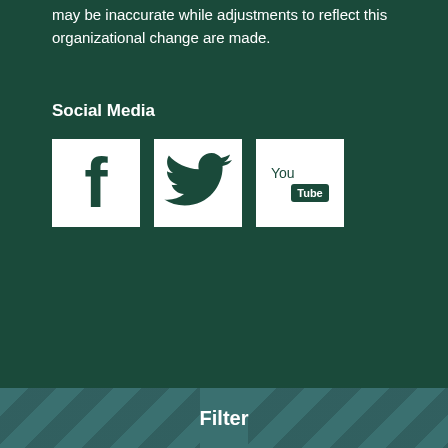may be inaccurate while adjustments to reflect this organizational change are made.
Social Media
[Figure (illustration): Three social media icons arranged horizontally: Facebook (white 'f' on white background square), Twitter (white bird icon on white background square), YouTube ('You Tube' text on white background square), all on dark green background.]
Filter